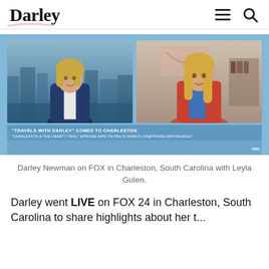Darley
[Figure (screenshot): TV broadcast screenshot split into two panels: left panel shows a blonde woman in a navy jacket standing in a news studio with a cityscape background; right panel shows a blonde woman in a red/coral blazer with blue top in a home office setting. Lower banner reads: "TRAVELS WITH DARLEY" COMES TO CHARLESTON / "CHARLESTON & THE LIBERTY TRAIL" EPISODE AIRS ON PBS IN MARCH | fb@travelswithdarley]
Darley Newman on FOX in Charleston, South Carolina with Leyla Gulen.
Darley went LIVE on FOX 24 in Charleston, South Carolina to share highlights about her t...